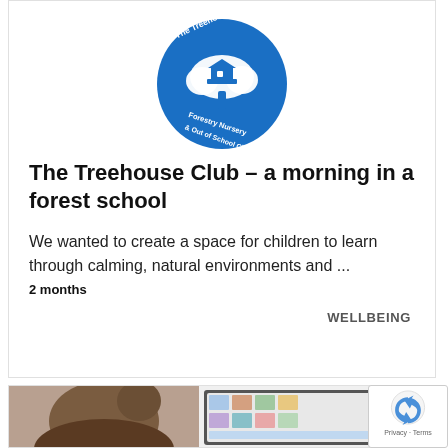[Figure (logo): The Treehouse Club circular logo — blue circle with white tree/treehouse illustration and text reading 'The Treehouse Club Forestry Nursery & Out of School Club']
The Treehouse Club – a morning in a forest school
We wanted to create a space for children to learn through calming, natural environments and ...
2 months
WELLBEING
[Figure (photo): Partial bottom card showing two images: left half shows back of a child's head with hair up, right half shows a computer screen with photo grid content]